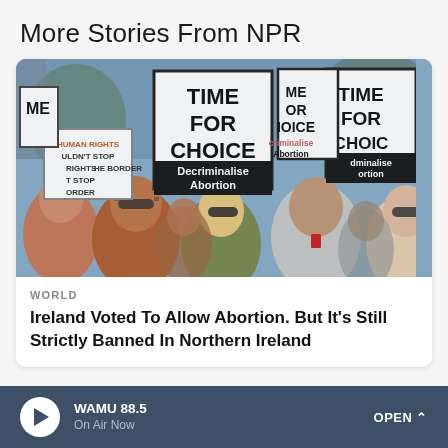More Stories From NPR
[Figure (photo): Protest crowd holding signs reading 'Time For Choice' and 'Decriminalise Abortion' and 'Human Rights Shouldn't Stop at the Border']
WORLD
Ireland Voted To Allow Abortion. But It’s Still Strictly Banned In Northern Ireland
WAMU 88.5 On Air Now OPEN